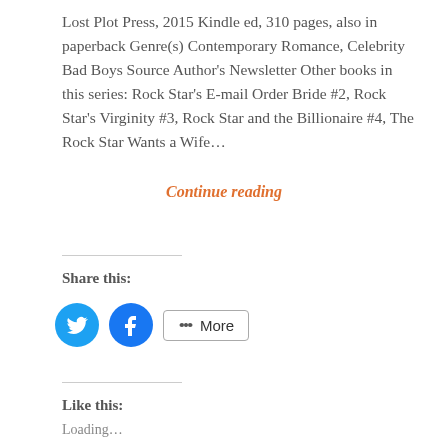Lost Plot Press, 2015 Kindle ed, 310 pages, also in paperback Genre(s) Contemporary Romance, Celebrity Bad Boys Source Author's Newsletter Other books in this series: Rock Star's E-mail Order Bride #2, Rock Star's Virginity #3, Rock Star and the Billionaire #4, The Rock Star Wants a Wife…
Continue reading
Share this:
Like this:
Loading...